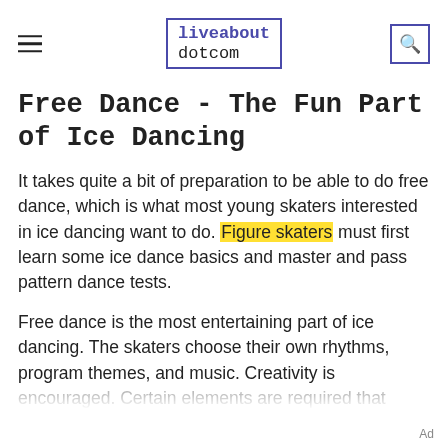liveabout dotcom
Free Dance - The Fun Part of Ice Dancing
It takes quite a bit of preparation to be able to do free dance, which is what most young skaters interested in ice dancing want to do. Figure skaters must first learn some ice dance basics and master and pass pattern dance tests.
Free dance is the most entertaining part of ice dancing. The skaters choose their own rhythms, program themes, and music. Creativity is encouraged. Certain elements are required that